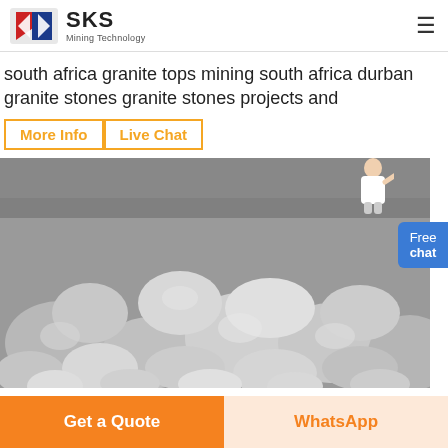SKS Mining Technology
south africa granite tops mining south africa durban granite stones granite stones projects and
More Info
Live Chat
[Figure (photo): Close-up photograph of grey granite stones/rocks piled together]
Free chat
Get a Quote
WhatsApp